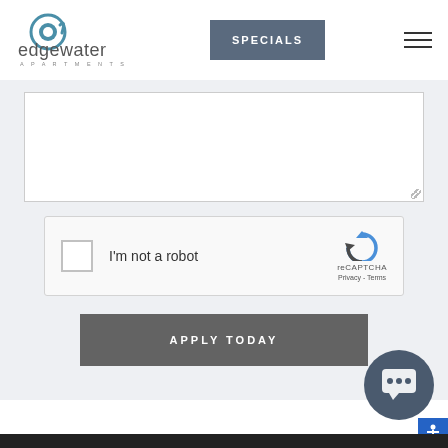[Figure (logo): Edgewater Apartments logo — circular 'e' icon above the word 'edgewater' in lowercase with 'APARTMENTS' in small caps beneath]
[Figure (screenshot): SPECIALS button — dark slate blue rectangular button with white uppercase text 'SPECIALS']
[Figure (screenshot): Hamburger menu icon — three horizontal lines]
[Figure (screenshot): White textarea / message input box with resize handle at bottom right]
[Figure (screenshot): reCAPTCHA widget — checkbox, 'I'm not a robot' text, reCAPTCHA logo, Privacy and Terms links]
I'm not a robot
reCAPTCHA
Privacy - Terms
[Figure (screenshot): Dark grey 'APPLY TODAY' button with white uppercase spaced text]
[Figure (screenshot): Dark blue-grey circular chat bubble icon with ellipsis speech bubble]
[Figure (screenshot): Blue accessibility icon (wheelchair person) in bottom right corner]